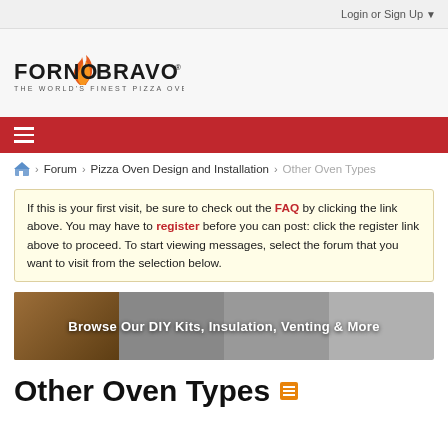Login or Sign Up ▼
[Figure (logo): Forno Bravo logo - flame icon with text FORNO BRAVO and tagline THE WORLD'S FINEST PIZZA OVENS]
≡
Forum › Pizza Oven Design and Installation › Other Oven Types
If this is your first visit, be sure to check out the FAQ by clicking the link above. You may have to register before you can post: click the register link above to proceed. To start viewing messages, select the forum that you want to visit from the selection below.
[Figure (photo): Banner image showing pizza oven products with text: Browse Our DIY Kits, Insulation, Venting & More]
Other Oven Types